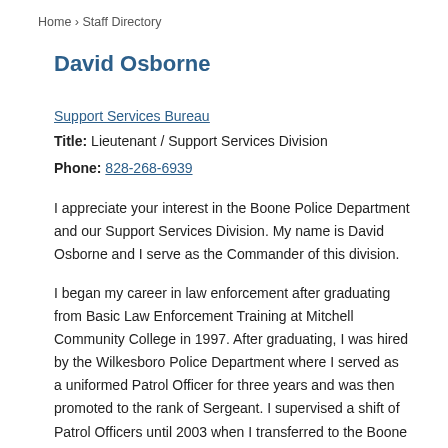Home › Staff Directory
David Osborne
Support Services Bureau
Title: Lieutenant / Support Services Division
Phone: 828-268-6939
I appreciate your interest in the Boone Police Department and our Support Services Division. My name is David Osborne and I serve as the Commander of this division.
I began my career in law enforcement after graduating from Basic Law Enforcement Training at Mitchell Community College in 1997. After graduating, I was hired by the Wilkesboro Police Department where I served as a uniformed Patrol Officer for three years and was then promoted to the rank of Sergeant. I supervised a shift of Patrol Officers until 2003 when I transferred to the Boone